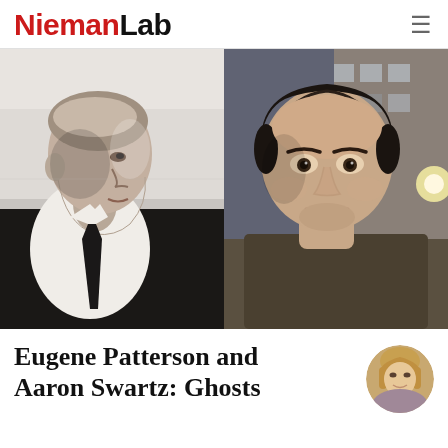NiemanLab
[Figure (photo): Side-by-side composite photo: left half shows a black and white photo of Eugene Patterson (older man in white shirt and dark tie, profile/three-quarter view), right half shows a color photo of Aaron Swartz (young man with dark hair, looking at camera, urban background with brick building)]
Eugene Patterson and Aaron Swartz: Ghosts
[Figure (photo): Circular author avatar photo showing a woman with blonde/light brown hair]